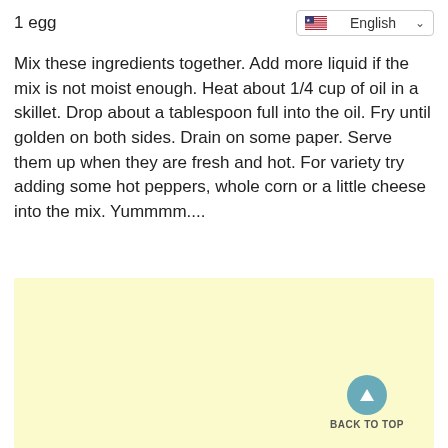1 egg
[Figure (screenshot): Language selector showing English with US flag and dropdown chevron]
Mix these ingredients together. Add more liquid if the mix is not moist enough. Heat about 1/4 cup of oil in a skillet. Drop about a tablespoon full into the oil. Fry until golden on both sides. Drain on some paper. Serve them up when they are fresh and hot. For variety try adding some hot peppers, whole corn or a little cheese into the mix. Yummmm....
[Figure (other): Yellow/cream colored advertisement or content box with a back-to-top button (teal circle with upward triangle arrow) and text BACK TO TOP]